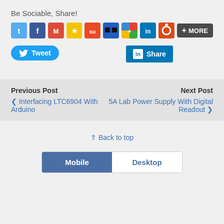Be Sociable, Share!
[Figure (infographic): Row of social media sharing icons: Twitter, Facebook, Gmail, Stumbleupon, Digg, Delicious, Google+, LinkedIn, Ubuntu, and a MORE button]
[Figure (infographic): Tweet button (blue, rounded, with Twitter bird icon) and LinkedIn Share button (blue, square corners, with LinkedIn icon)]
Previous Post
Next Post
‹ Interfacing LTC6904 With Arduino
5A Lab Power Supply With Digital Readout ›
⇑ Back to top
[Figure (infographic): Mobile/Desktop toggle button row: Mobile (active, blue) and Desktop (inactive, white)]